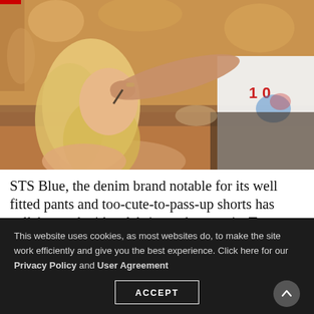[Figure (photo): A makeup artist applying makeup to a blonde woman sitting in front of a mirror with warm lighting. The artist is wearing a white t-shirt with the number 10.]
STS Blue, the denim brand notable for its well fitted pants and too-cute-to-pass-up shorts has collaborated with celebrity makeup artist Troy Jensen to offer 2 people
This website uses cookies, as most websites do, to make the site work efficiently and give you the best experience. Click here for our Privacy Policy and User Agreement